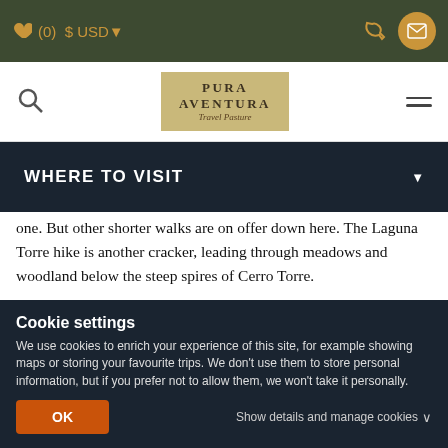(0) $ USD▼
[Figure (screenshot): Pura Aventura Travel Passion logo in beige/gold background]
WHERE TO VISIT
one. But other shorter walks are on offer down here. The Laguna Torre hike is another cracker, leading through meadows and woodland below the steep spires of Cerro Torre.
[Figure (photo): Partially visible landscape photo with dark green treeline and blue sky]
Cookie settings
We use cookies to enrich your experience of this site, for example showing maps or storing your favourite trips. We don't use them to store personal information, but if you prefer not to allow them, we won't take it personally.
OK   Show details and manage cookies